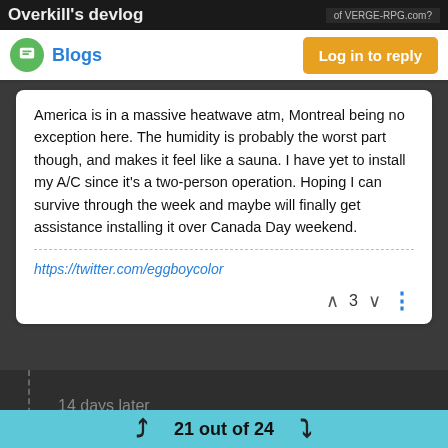Overkill's devlog
Blogs
America is in a massive heatwave atm, Montreal being no exception here. The humidity is probably the worst part though, and makes it feel like a sauna. I have yet to install my A/C since it's a two-person operation. Hoping I can survive through the week and maybe will finally get assistance installing it over Canada Day weekend.
https://twitter.com/eggboycolor
14 days later
Overkill   Jul 13, 2021, 8:16 AM
21 out of 24